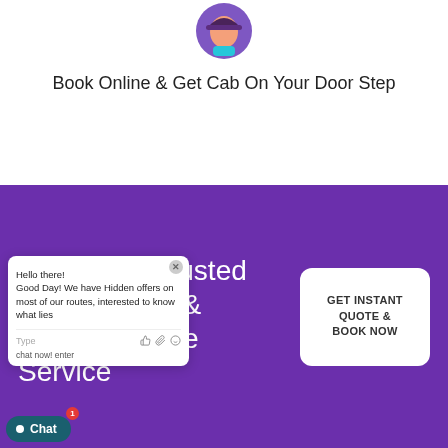[Figure (illustration): Circular avatar illustration of a person wearing a cap, partially visible at top of page]
Book Online & Get Cab On Your Door Step
[Figure (screenshot): Purple promotional banner with white text reading 'Reliable & Trusted Belfast Taxis & Minibus Quote Service' and a white rounded-rectangle CTA button with text 'GET INSTANT QUOTE & BOOK NOW'. A chat popup overlay shows 'Hello there! Good Day! We have Hidden offers on most of our routes, interested to know what lies...' with a Type input bar and emoji/attachment icons.]
Hello there! Good Day! We have Hidden offers on most of our routes, interested to know what lies
Type
chat now! enter
Chat